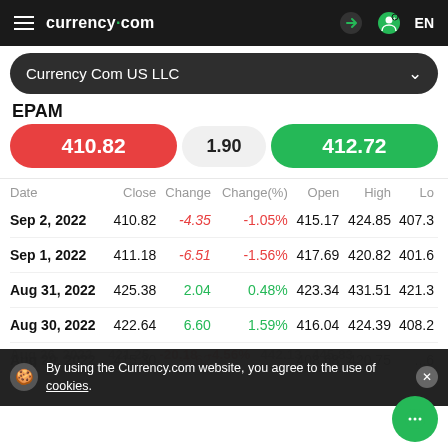currency.com  EN
Currency Com US LLC
EPAM
410.82  1.90  412.72
| Date | Close | Change | Change(%) | Open | High | Lo |
| --- | --- | --- | --- | --- | --- | --- |
| Sep 2, 2022 | 410.82 | -4.35 | -1.05% | 415.17 | 424.85 | 407.3 |
| Sep 1, 2022 | 411.18 | -6.51 | -1.56% | 417.69 | 420.82 | 401.6 |
| Aug 31, 2022 | 425.38 | 2.04 | 0.48% | 423.34 | 431.51 | 421.3 |
| Aug 30, 2022 | 422.64 | 6.60 | 1.59% | 416.04 | 424.39 | 408.2 |
| Aug 29, 2022 | 415.30 | -1.62 | ... | 408.68 | 420.75 | ...6 |
| Aug 26, 2022 | 421.25 | -20.18 | -4.56% | 442.13 | 445.83 | ... |
By using the Currency.com website, you agree to the use of cookies.